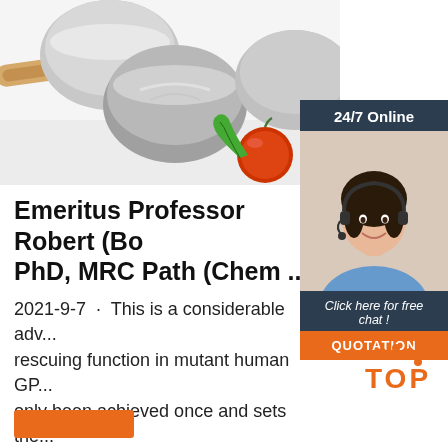[Figure (photo): Kitchen photo with stainless steel mixing bowls, wooden rolling pin, and a red tomato with green chili on white background]
[Figure (photo): Sidebar advertisement: 24/7 Online chat service with a smiling female agent wearing a headset, dark navy header, Click here for free chat, orange QUOTATION button]
Emeritus Professor Robert (Bo... PhD, MRC Path (Chem ...
2021-9-7 · This is a considerable adv... rescuing function in mutant human GP... only been achieved once and sets the... a new pharmacology in restoring function to a wide spectrum of disease arising from mutations in the large family ...
[Figure (logo): TOP logo with orange dots and orange text]